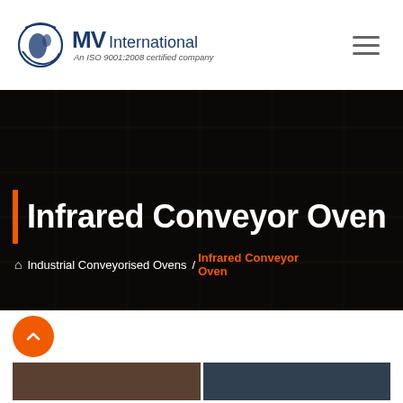MV International — An ISO 9001:2008 certified company
Infrared Conveyor Oven
Industrial Conveyorised Ovens / Infrared Conveyor Oven
[Figure (photo): Dark industrial background hero banner image with overlaid title 'Infrared Conveyor Oven']
[Figure (photo): Two thumbnail photos of industrial conveyor ovens at the bottom of the page]